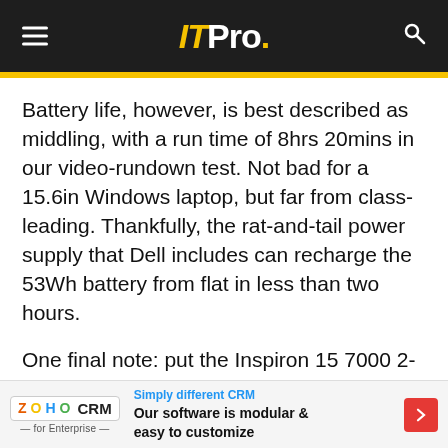ITPro.
Battery life, however, is best described as middling, with a run time of 8hrs 20mins in our video-rundown test. Not bad for a 15.6in Windows laptop, but far from class-leading. Thankfully, the rat-and-tail power supply that Dell includes can recharge the 53Wh battery from flat in less than two hours.
One final note: put the Inspiron 15 7000 2-in-1 under heavy stress and things can get hot. You can prevent this using Dell's Power Manager control panel, which offers various trade-offs between performance, heat and fan operation. The fan is loud at full speed, mind
[Figure (other): ZOHO CRM for Enterprise advertisement banner. Tagline: Simply different CRM. Body: Our software is modular & easy to customize]